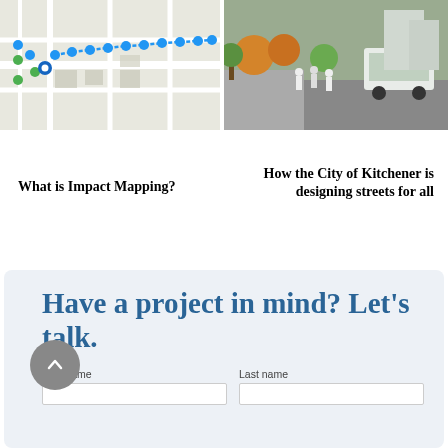[Figure (map): Map showing a route with blue dotted line and blue/green location markers on a street map]
[Figure (photo): Street scene rendering showing a bus and pedestrians on a redesigned street with trees and buildings]
What is Impact Mapping?
How the City of Kitchener is designing streets for all
Have a project in mind? Let's talk.
First name
Last name